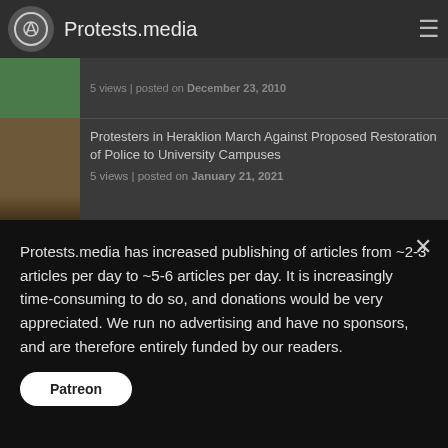Protests.media
5 views | posted on December 23, 2010
Protesters in Heraklion March Against Proposed Restoration of Police to University Campuses
5 views | posted on January 21, 2021
Riots Occur in Polish Town of Lubin After Police Murder of Young Man
5 views | posted on August 8, 2021
Anarchists in Athens Return to the Streets in
Protests.media has increased publishing of articles from ~2-3 articles per day to ~5-6 articles per day. It is increasingly time-consuming to do so, and donations would be very appreciated. We run no advertising and have no sponsors, and are therefore entirely funded by our readers.
Patreon